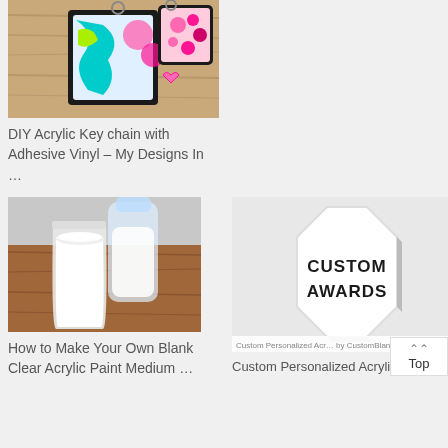[Figure (photo): Colorful DIY acrylic keychains with adhesive vinyl in pink, teal, and floral patterns on a wooden surface]
DIY Acrylic Key chain with Adhesive Vinyl – My Designs In …
[Figure (photo): A clear glass or plastic cup filled with white liquid (acrylic paint medium) on a brown wooden table]
How to Make Your Own Blank Clear Acrylic Paint Medium …
[Figure (photo): A white octagon-shaped custom award plaque with bold black text reading CUSTOM AWARDS]
Custom Personalized Acr… by CustomBlankTemplates
Custom Personalized Acryli